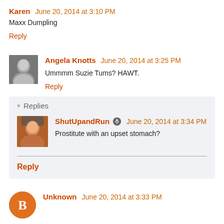Karen — June 20, 2014 at 3:10 PM
Maxx Dumpling
Reply
[Figure (photo): Black and white avatar photo of Angela Knotts]
Angela Knotts — June 20, 2014 at 3:25 PM
Ummmm Suzie Tums? HAWT.
Reply
Replies
[Figure (photo): Color avatar photo of ShutUpandRun]
ShutUpandRun — June 20, 2014 at 3:34 PM
Prostitute with an upset stomach?
Reply
[Figure (logo): Blogger B icon orange circle for Unknown user]
Unknown — June 20, 2014 at 3:33 PM